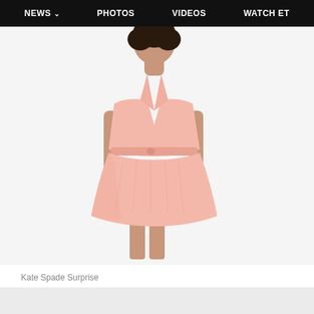NEWS  PHOTOS  VIDEOS  WATCH ET
[Figure (photo): A woman wearing a light pink sleeveless wrap-style midi dress with a tied waist belt, standing against a white background. The dress has a V-neckline, gathered skirt, and subtle texture.]
Kate Spade Surprise